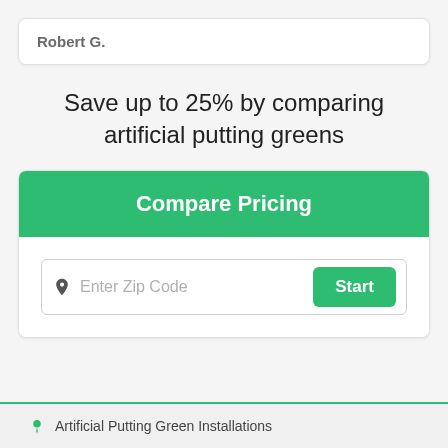Robert G.
Save up to 25% by comparing artificial putting greens
Compare Pricing
Enter Zip Code
Start
Artificial Putting Green Installations